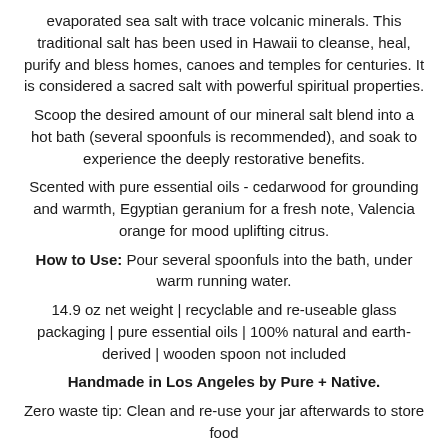evaporated sea salt with trace volcanic minerals. This traditional salt has been used in Hawaii to cleanse, heal, purify and bless homes, canoes and temples for centuries. It is considered a sacred salt with powerful spiritual properties.
Scoop the desired amount of our mineral salt blend into a hot bath (several spoonfuls is recommended), and soak to experience the deeply restorative benefits.
Scented with pure essential oils - cedarwood for grounding and warmth, Egyptian geranium for a fresh note, Valencia orange for mood uplifting citrus.
How to Use: Pour several spoonfuls into the bath, under warm running water.
14.9 oz net weight | recyclable and re-useable glass packaging | pure essential oils | 100% natural and earth-derived | wooden spoon not included
Handmade in Los Angeles by Pure + Native.
Zero waste tip: Clean and re-use your jar afterwards to store food